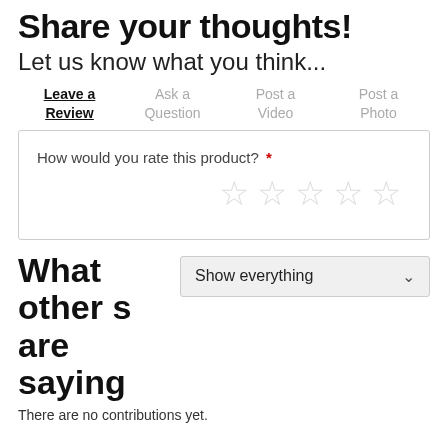Share your thoughts!
Let us know what you think...
Leave a Review
Ask a Question
Post a Video
Post a Photo
How would you rate this product? *
[Figure (other): Five empty star rating icons]
What others are saying
[Figure (other): Show everything dropdown selector]
There are no contributions yet.